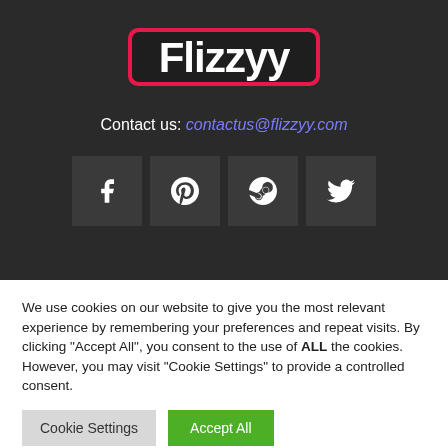[Figure (logo): Flizzyy logo in white bold text with red/pink glow effect on dark background]
Contact us: contactus@flizzyy.com
[Figure (infographic): Four social media icon buttons: Facebook (f), Pinterest (p), Steam, Twitter (bird) on dark gray square backgrounds]
We use cookies on our website to give you the most relevant experience by remembering your preferences and repeat visits. By clicking "Accept All", you consent to the use of ALL the cookies. However, you may visit "Cookie Settings" to provide a controlled consent.
Cookie Settings | Accept All